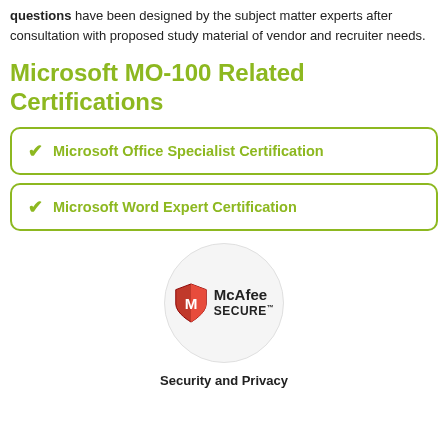questions have been designed by the subject matter experts after consultation with proposed study material of vendor and recruiter needs.
Microsoft MO-100 Related Certifications
✔ Microsoft Office Specialist Certification
✔ Microsoft Word Expert Certification
[Figure (logo): McAfee SECURE logo inside a light grey circle]
Security and Privacy